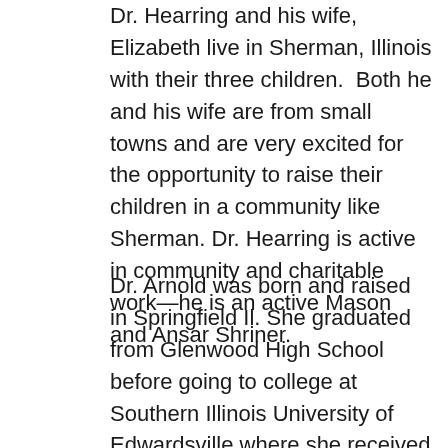Dr. Hearring and his wife, Elizabeth live in Sherman, Illinois with their three children. Both he and his wife are from small towns and are very excited for the opportunity to raise their children in a community like Sherman. Dr. Hearring is active in community and charitable work—he is an active Mason and Ansar Shriner.
Dr. Arnold was born and raised in Springfield Il. She graduated from Glenwood High School before going to college at Southern Illinois University of Edwardsville where she received her BS in Biological Sciences. She went on to SIU School of Dental Medicine where she received her D.M.D. in 2011. Following